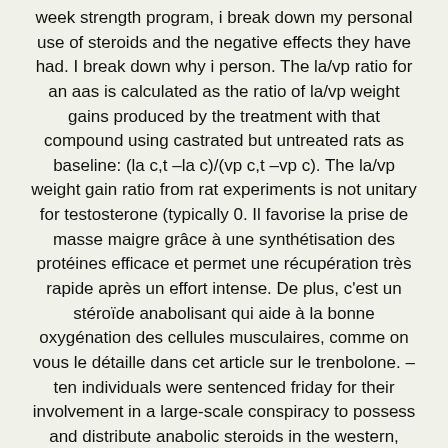week strength program, i break down my personal use of steroids and the negative effects they have had. I break down why i person. The la/vp ratio for an aas is calculated as the ratio of la/vp weight gains produced by the treatment with that compound using castrated but untreated rats as baseline: (la c,t –la c)/(vp c,t –vp c). The la/vp weight gain ratio from rat experiments is not unitary for testosterone (typically 0. Il favorise la prise de masse maigre grâce à une synthétisation des protéines efficace et permet une récupération très rapide après un effort intense. De plus, c'est un stéroïde anabolisant qui aide à la bonne oxygénation des cellules musculaires, comme on vous le détaille dans cet article sur le trenbolone. –ten individuals were sentenced friday for their involvement in a large-scale conspiracy to possess and distribute anabolic steroids in the western, middle and eastern districts of texas and louisiana, following an investigation by u. Immigration and customs enforcement's (ice) homeland security investigations (hsi), u.